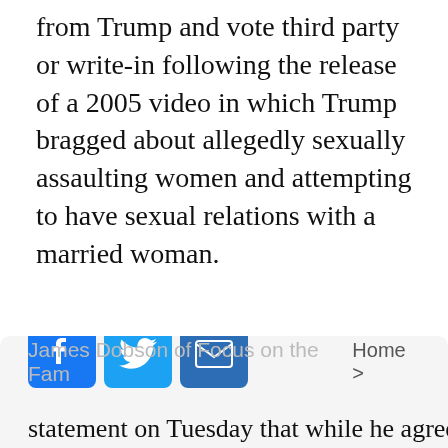from Trump and vote third party or write-in following the release of a 2005 video in which Trump bragged about allegedly sexually assaulting women and attempting to have sexual relations with a married woman.
James Dobson of Focus on the Family said in a statement on Tuesday that while he agreed the